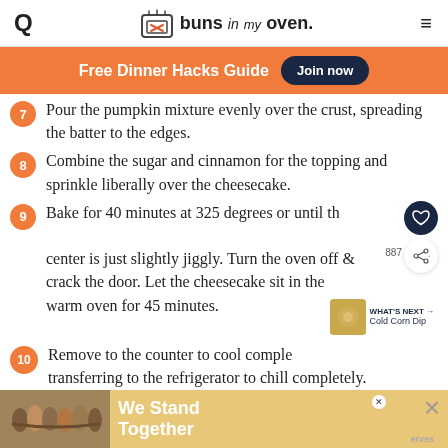buns in my oven.
Free Dinner Hacks Guide  Join now
7 Pour the pumpkin mixture evenly over the crust, spreading the batter to the edges.
8 Combine the sugar and cinnamon for the topping and sprinkle liberally over the cheesecake.
9 Bake for 40 minutes at 325 degrees or until the center is just slightly jiggly. Turn the oven off and crack the door. Let the cheesecake sit in the warm oven for 45 minutes.
10 Remove to the counter to cool completely before transferring to the refrigerator to chill completely.
[Figure (screenshot): Advertisement banner at bottom: group of people with text 'We Stand Together']